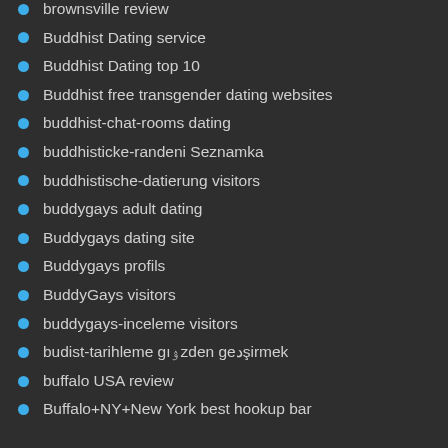brownsville review
Buddhist Dating service
Buddhist Dating top 10
Buddhist free transgender dating websites
buddhist-chat-rooms dating
buddhisticke-randeni Seznamka
buddhistische-datierung visitors
buddygays adult dating
Buddygays dating site
Buddygays profils
BuddyGays visitors
buddygays-inceleme visitors
budist-tarihleme gözden geçirmek
buffalo USA review
Buffalo+NY+New York best hookup bar